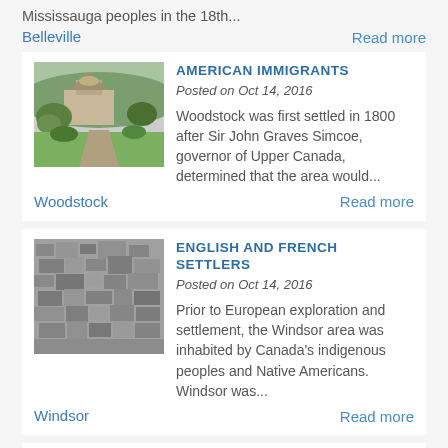Mississauga peoples in the 18th...
Belleville
Read more
[Figure (photo): Colour photo of a historic building with dome, surrounded by trees and green lawn, aerial-style view]
AMERICAN IMMIGRANTS
Posted on Oct 14, 2016
Woodstock was first settled in 1800 after Sir John Graves Simcoe, governor of Upper Canada, determined that the area would...
Woodstock
Read more
[Figure (photo): Black and white aerial photograph of a dense urban area, showing city blocks and buildings from above]
ENGLISH AND FRENCH SETTLERS
Posted on Oct 14, 2016
Prior to European exploration and settlement, the Windsor area was inhabited by Canada's indigenous peoples and Native Americans. Windsor was...
Windsor
Read more
[Figure (photo): Black and white photo of a Gothic-style cathedral or parliament building with spires]
RIDEAU CANAL ATTRACTS SETTLERS
Posted on Oct 13, 2016